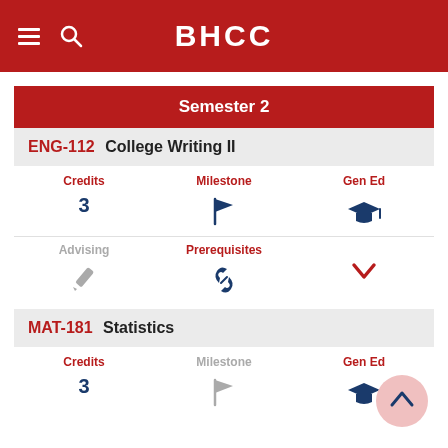BHCC
Semester 2
ENG-112 College Writing II
Credits: 3 | Milestone: (flag icon) | Gen Ed: (graduation cap icon)
Advising: (pencil icon) | Prerequisites: (link icon) | (chevron icon)
MAT-181 Statistics
Credits: 3 | Milestone: (flag icon) | Gen Ed: (graduation cap icon)